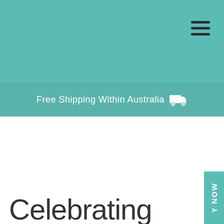[Figure (screenshot): Teal/turquoise website header background with hamburger menu icon in top right corner]
Free Shipping Within Australia 🚚
Celebrating